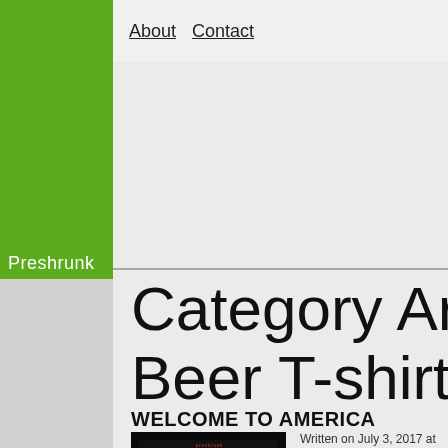About   Contact
Category Arc
Beer T-shirts
WELCOME TO AMERICA
[Figure (photo): Dark image showing red, white, and blue beer-related designs/bottles against a black background]
Written on July 3, 2017 at
It may not seem like it mo once every year we Amer
Continue Reading »